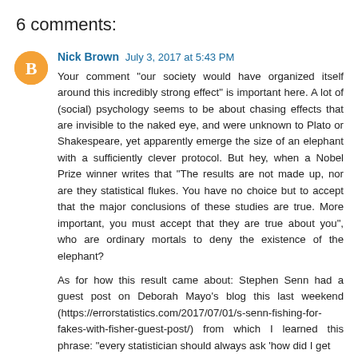6 comments:
Nick Brown  July 3, 2017 at 5:43 PM
Your comment "our society would have organized itself around this incredibly strong effect" is important here. A lot of (social) psychology seems to be about chasing effects that are invisible to the naked eye, and were unknown to Plato or Shakespeare, yet apparently emerge the size of an elephant with a sufficiently clever protocol. But hey, when a Nobel Prize winner writes that "The results are not made up, nor are they statistical flukes. You have no choice but to accept that the major conclusions of these studies are true. More important, you must accept that they are true about you", who are ordinary mortals to deny the existence of the elephant?
As for how this result came about: Stephen Senn had a guest post on Deborah Mayo's blog this last weekend (https://errorstatistics.com/2017/07/01/s-senn-fishing-for-fakes-with-fisher-guest-post/) from which I learned this phrase: "every statistician should always ask 'how did I get